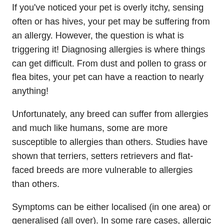If you've noticed your pet is overly itchy, sensing often or has hives, your pet may be suffering from an allergy. However, the question is what is triggering it! Diagnosing allergies is where things can get difficult. From dust and pollen to grass or flea bites, your pet can have a reaction to nearly anything!
Unfortunately, any breed can suffer from allergies and much like humans, some are more susceptible to allergies than others. Studies have shown that terriers, setters retrievers and flat-faced breeds are more vulnerable to allergies than others.
Symptoms can be either localised (in one area) or generalised (all over). In some rare cases, allergic reactions can involve the respiratory system with coughing, sneezing and wheezing. You may also notice that your pet has runny discharge from their nose and eyes as well.